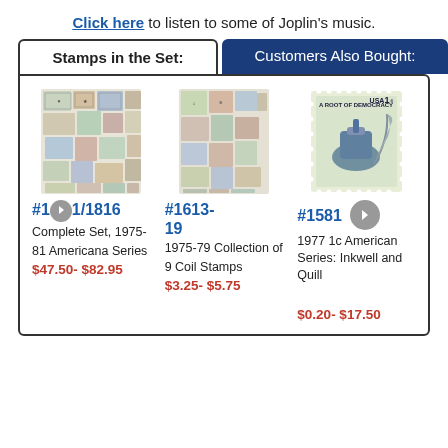Click here to listen to some of Joplin's music.
Stamps in the Set:
Customers Also Bought:
[Figure (photo): Collection of colorful stamps from the Americana series 1975-81]
#1281/1816
Complete Set, 1975-81 Americana Series
$47.50- $82.95
[Figure (photo): Collection of Americana series coil stamps 1975-79]
#1613-19
1975-79 Collection of 9 Coil Stamps
$3.25- $5.75
[Figure (photo): 1977 1c American Series Inkwell and Quill stamp]
#1581
1977 1c American Series: Inkwell and Quill
$0.20- $17.50